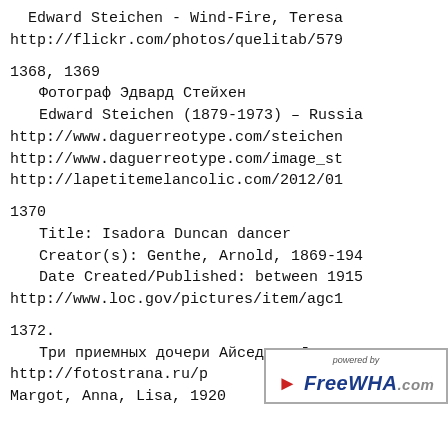Edward Steichen - Wind-Fire, Teresa
http://flickr.com/photos/quelitab/579
1368, 1369
  Фотограф Эдвард Стейхен
  Edward Steichen (1879-1973) - Russia
http://www.daguerreotype.com/steichen
http://www.daguerreotype.com/image_st
http://lapetitemelancolic.com/2012/01
1370
  Title: Isadora Duncan dancer
  Creator(s): Genthe, Arnold, 1869-194
  Date Created/Published: between 1915
http://www.loc.gov/pictures/item/agc1
1372.
  Три приемных дочери Айседоры Дункан,
http://fotostrana.ru/p
Margot, Anna, Lisa, 1920